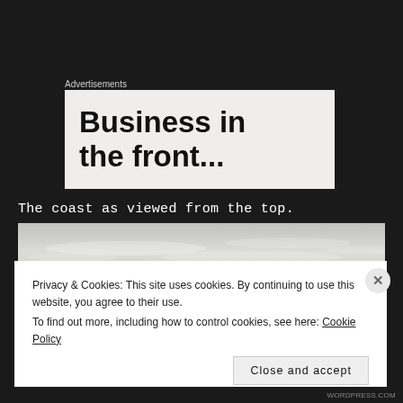Advertisements
[Figure (other): Advertisement banner with bold text reading 'Business in the front...' on a light beige background]
The coast as viewed from the top.
[Figure (photo): A photograph of a coastal scene viewed from above, showing sky and water in muted grey tones]
Privacy & Cookies: This site uses cookies. By continuing to use this website, you agree to their use.
To find out more, including how to control cookies, see here: Cookie Policy
Close and accept